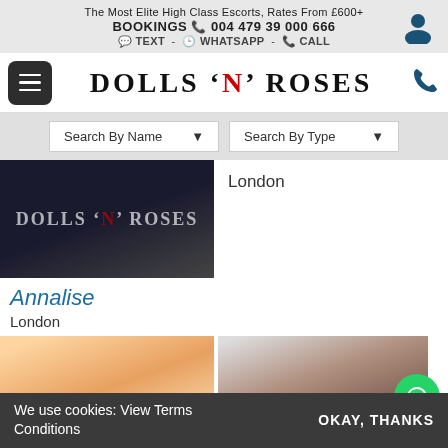The Most Elite High Class Escorts, Rates From £600+
BOOKINGS 004 479 39 000 666
TEXT - WHATSAPP - CALL
DOLLS 'N' ROSES
Search By Name▼
Search By Type ▼
[Figure (photo): Partial image showing Dolls N Roses branding/backdrop]
London
Annalise
London
[Figure (photo): Blonde woman escort photo (cropped)]
[Figure (photo): Dark-haired woman escort photo (cropped)]
We use cookies: View Terms Conditions
OKAY, THANKS